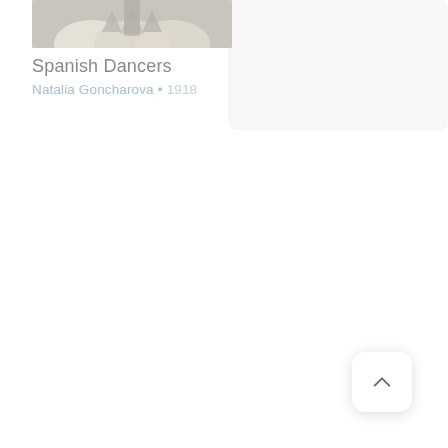[Figure (photo): Thumbnail image of Spanish Dancers artwork by Natalia Goncharova, showing pale cream and grey tones with dancer forms, partially faded/greyed out]
Spanish Dancers
Natalia Goncharova • 1918